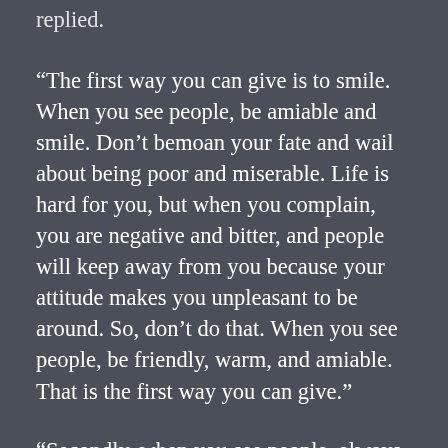“The first way you can give is to smile. When you see people, be amiable and smile. Don’t bemoan your fate and wail about being poor and miserable. Life is hard for you, but when you complain, you are negative and bitter, and people will keep away from you because your attitude makes you unpleasant to be around. So, don’t do that. When you see people, be friendly, warm, and amiable. That is the first way you can give.”
“Secondly, when you see people, always say nice things to them. No matter what they say to you, don’t say anything unkind. Always say good things about others, both in front of them and when they are not around to hear you. Speaking kindly